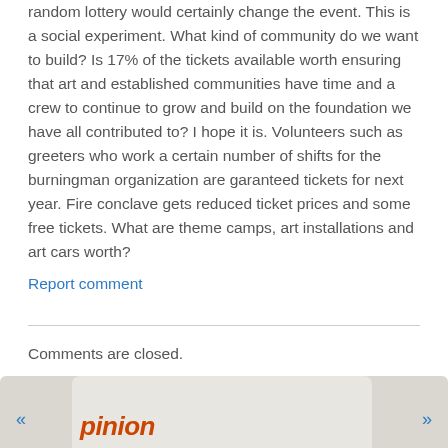random lottery would certainly change the event. This is a social experiment. What kind of community do we want to build? Is 17% of the tickets available worth ensuring that art and established communities have time and a crew to continue to grow and build on the foundation we have all contributed to? I hope it is. Volunteers such as greeters who work a certain number of shifts for the burningman organization are garanteed tickets for next year. Fire conclave gets reduced ticket prices and some free tickets. What are theme camps, art installations and art cars worth?
Report comment
Comments are closed.
« pinion »